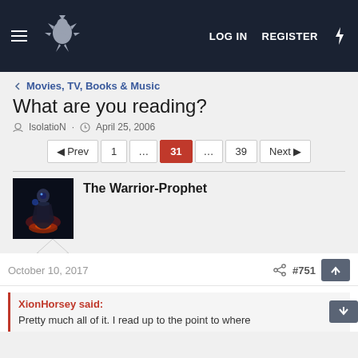LOG IN  REGISTER
Movies, TV, Books & Music
What are you reading?
IsolatioN · April 25, 2006
Prev  1  ...  31  ...  39  Next
The Warrior-Prophet
October 10, 2017  #751
XionHorsey said:
Pretty much all of it. I read up to the point to where